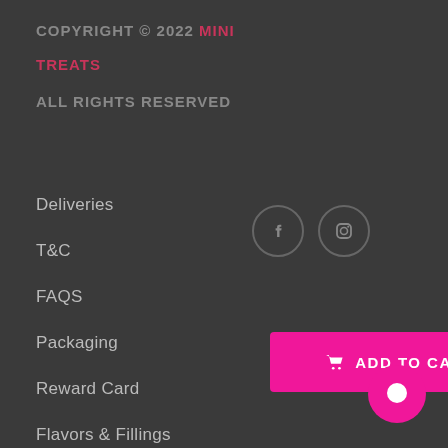COPYRIGHT © 2022 MINI TREATS ALL RIGHTS RESERVED
Deliveries
T&C
FAQS
Packaging
Reward Card
Flavors & Fillings
[Figure (other): Facebook and Instagram social media icons in circular outlines]
[Figure (other): Pink ADD TO CART button with cart icon, and pink circular chat button]